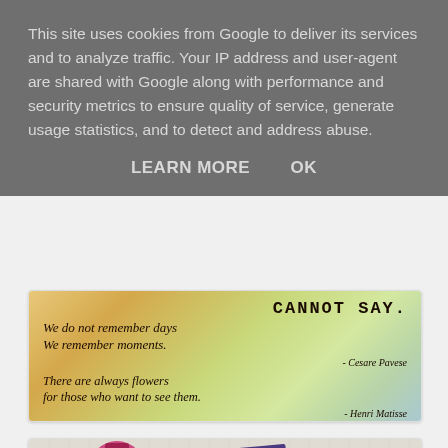This site uses cookies from Google to deliver its services and to analyze traffic. Your IP address and user-agent are shared with Google along with performance and security metrics to ensure quality of service, generate usage statistics, and to detect and address abuse.
LEARN MORE    OK
[Figure (photo): Decorative image with handwritten-style script quotes on a vintage distressed background with colorful watercolor washes. Text reads: CANNOT SAY. / We do not remember days / We remember moments. / - Cesare Pavese / There are always flowers / for those who want to see them. / - Henri Matisse]
[Figure (photo): Craft supplies image showing bottles of ink/paint, dark purple paper/cardstock, and pink ink spots on a cutting mat background]